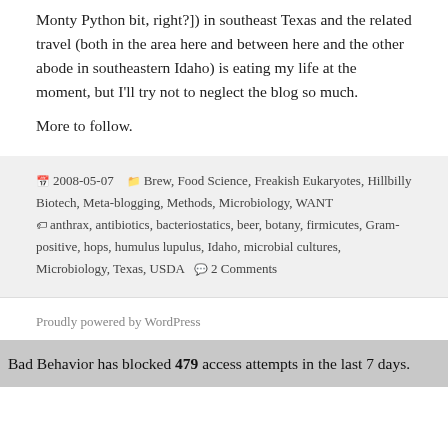Monty Python bit, right?]) in southeast Texas and the related travel (both in the area here and between here and the other abode in southeastern Idaho) is eating my life at the moment, but I'll try not to neglect the blog so much.
More to follow.
2008-05-07   Brew, Food Science, Freakish Eukaryotes, Hillbilly Biotech, Meta-blogging, Methods, Microbiology, WANT   anthrax, antibiotics, bacteriostatics, beer, botany, firmicutes, Gram-positive, hops, humulus lupulus, Idaho, microbial cultures, Microbiology, Texas, USDA   2 Comments
Proudly powered by WordPress
Bad Behavior has blocked 479 access attempts in the last 7 days.